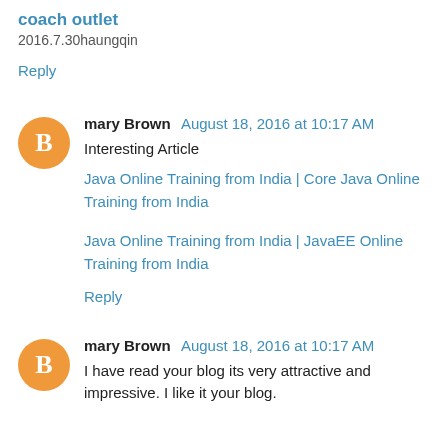coach outlet
2016.7.30haungqin
Reply
mary Brown  August 18, 2016 at 10:17 AM
Interesting Article
Java Online Training from India | Core Java Online Training from India
Java Online Training from India | JavaEE Online Training from India
Reply
mary Brown  August 18, 2016 at 10:17 AM
I have read your blog its very attractive and impressive. I like it your blog.